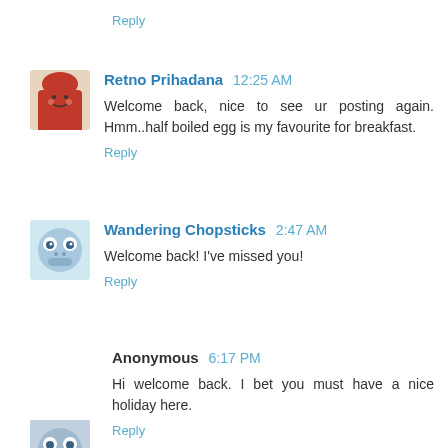Reply
Retno Prihadana  12:25 AM
Welcome back, nice to see ur posting again. Hmm..half boiled egg is my favourite for breakfast.
Reply
Wandering Chopsticks  2:47 AM
Welcome back! I've missed you!
Reply
Anonymous  6:17 PM
Hi welcome back. I bet you must have a nice holiday here.
Reply
[Figure (photo): Partial avatar at bottom of page]